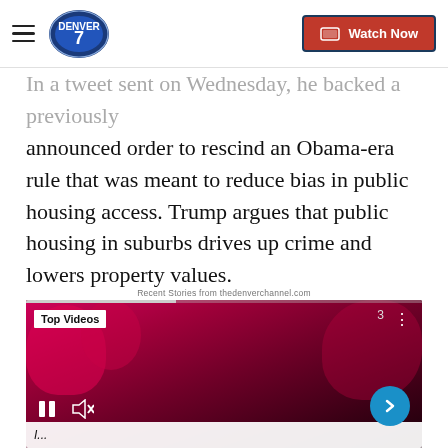Denver7 — Watch Now
In a tweet sent on Wednesday, he backed a previously announced order to rescind an Obama-era rule that was meant to reduce bias in public housing access. Trump argues that public housing in suburbs drives up crime and lowers property values.
Recent Stories from thedenverchannel.com
[Figure (screenshot): Video player showing Top Videos with a man in a Chicago Bulls jersey crying, with video controls including pause, mute, and next arrow buttons. A caption bar is visible at the bottom of the video.]